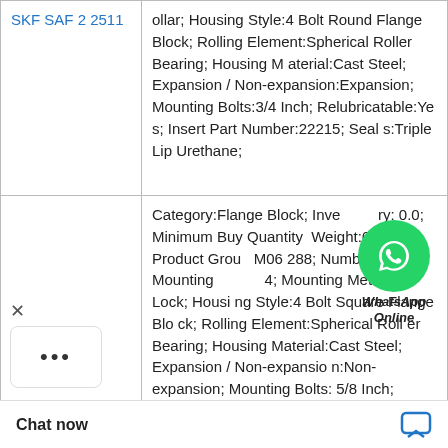| Model | Description |
| --- | --- |
| SKF SAF 2 2511 | ollar; Housing Style:4 Bolt Round Flange Block; Rolling Element:Spherical Roller Bearing; Housing Material:Cast Steel; Expansion / Non-expansion:Expansion; Mounting Bolts:3/4 Inch; Relubricatable:Yes; Insert Part Number:22215; Seals:Triple Lip Urethane; |
| NTN ASPFL 205 | Category:Flange Block; Inventory:0.0; Minimum Buy Quantity: Weight:6.356; Product Group:M06 288; Number of Mounting Holes:4; Mounting Method:V Lock; Housing Style:4 Bolt Square Flange Block; Rolling Element:Spherical Roller Bearing; Housing Material:Cast Steel; Expansion / Non-expansion:Non-expansion; Mounting Bolts:5/8 Inch; Relubricatable:Yes; Insert Part Number:22212; Seals:Tripl |